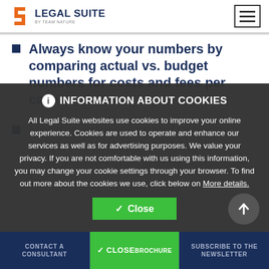Legal Suite
Always know your numbers by comparing actual vs. budget numbers for costs and fees per case.
Monitor external spend between service providers, allowing for competitive rates and negotiations to ensure you always have the information is the answer for
INFORMATION ABOUT COOKIES
All Legal Suite websites use cookies to improve your online experience. Cookies are used to operate and enhance our services as well as for advertising purposes. We value your privacy. If you are not comfortable with us using this information, you may change your cookie settings through your browser. To find out more about the cookies we use, click below on More details.
CONTACT A CONSULTANT | BROCHURE | SUBSCRIBE TO THE NEWSLETTER